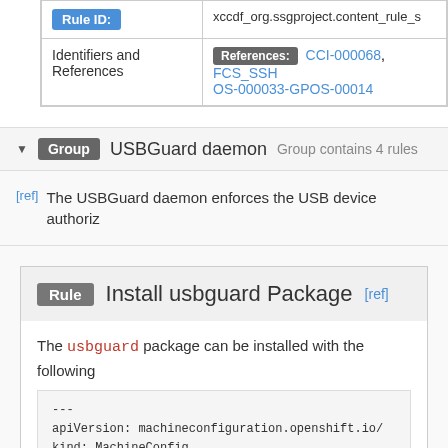| Field | Value |
| --- | --- |
| Rule ID: | xccdf_org.ssgproject.content_rule_s |
| Identifiers and References | References: CCI-000068, FCS_SSH... OS-000033-GPOS-00014 |
Group  USBGuard daemon  Group contains 4 rules
[ref] The USBGuard daemon enforces the USB device authoriz
Rule  Install usbguard Package  [ref]
The usbguard package can be installed with the following
---
apiVersion: machineconfiguration.openshift.io/
kind: MachineConfig
metadata: